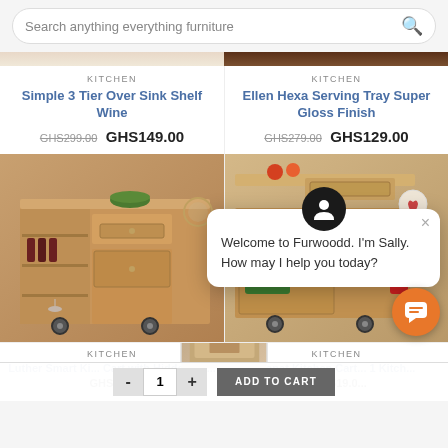Search anything everything furniture
KITCHEN
Simple 3 Tier Over Sink Shelf Wine
GHS299.00  GHS149.00
KITCHEN
Ellen Hexa Serving Tray Super Gloss Finish
GHS279.00  GHS129.00
[Figure (photo): Kitchen cart with wine storage, shelves, drawer, and wheels]
[Figure (photo): Kitchen cart with drawer, open cabinet, and red towel]
Welcome to Furwoodd. I'm Sally. How may I help you today?
KITCHEN
Luther Smart Kitchen Cart with Hidden W...
GHS87...
KITCHEN
Konat Kitchen Cart...1 Kitch...
GHS519.0...
ADD TO CART